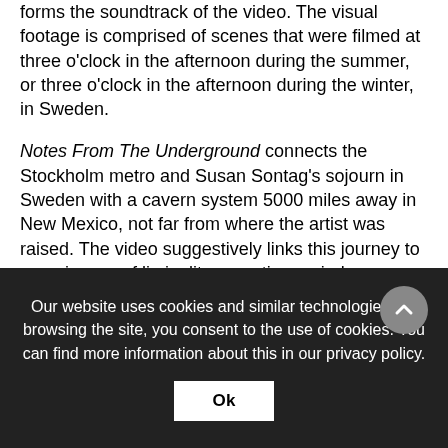forms the soundtrack of the video. The visual footage is comprised of scenes that were filmed at three o'clock in the afternoon during the summer, or three o'clock in the afternoon during the winter, in Sweden.
Notes From The Underground connects the Stockholm metro and Susan Sontag's sojourn in Sweden with a cavern system 5000 miles away in New Mexico, not far from where the artist was raised. The video suggestively links this journey to experiences of liminality, narrating varied intensities of geological time and strata of personal and cultural history.
Our website uses cookies and similar technologies. By browsing the site, you consent to the use of cookies. You can find more information about this in our privacy policy. Ok